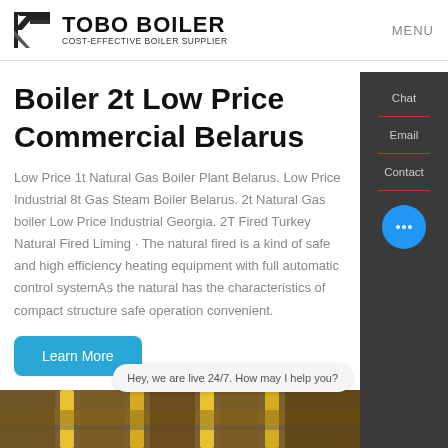TOBO BOILER — COST-EFFECTIVE BOILER SUPPLIER | MENU
Boiler 2t Low Price Commercial Belarus
Low Price 1t Natural Gas Boiler Plant Belarus. Low Price Industrial 8t Gas Steam Boiler Belarus. 2t Natural Gas boiler Low Price Industrial Georgia. 2T Fired Turkey Natural Fired Liming · The natural fired is a kind of safe and high efficiency heating equipment with full automatic control systemAs the natural has the characteristics of compact structure safe operation convenient.
Learn More
Hey, we are live 24/7. How may I help you?
[Figure (photo): Bottom strip showing industrial boiler equipment with yellow pipes and industrial machinery]